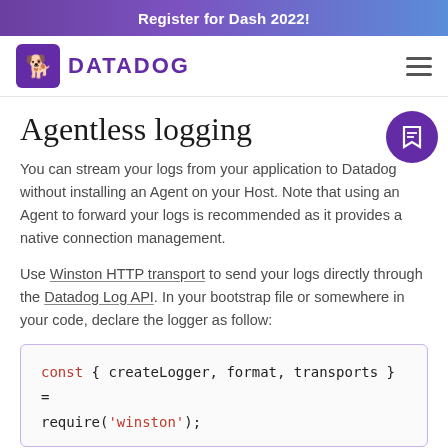Register for Dash 2022!
[Figure (logo): Datadog logo with dog icon and DATADOG wordmark in purple]
Agentless logging
You can stream your logs from your application to Datadog without installing an Agent on your Host. Note that using an Agent to forward your logs is recommended as it provides a native connection management.
Use Winston HTTP transport to send your logs directly through the Datadog Log API. In your bootstrap file or somewhere in your code, declare the logger as follow:
const { createLogger, format, transports } =
require('winston');